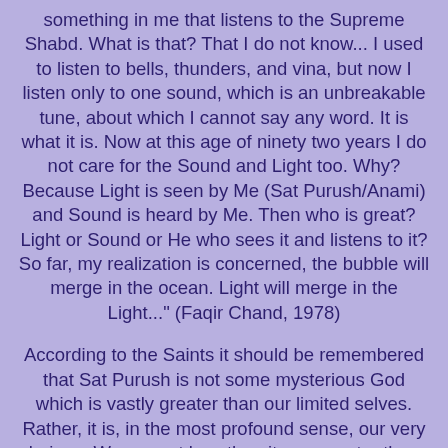something in me that listens to the Supreme Shabd. What is that? That I do not know... I used to listen to bells, thunders, and vina, but now I listen only to one sound, which is an unbreakable tune, about which I cannot say any word. It is what it is. Now at this age of ninety two years I do not care for the Sound and Light too. Why? Because Light is seen by Me (Sat Purush/Anami) and Sound is heard by Me. Then who is great? Light or Sound or He who sees it and listens to it? So far, my realization is concerned, the bubble will merge in the ocean. Light will merge in the Light..." (Faqir Chand, 1978)
According to the Saints it should be remembered that Sat Purush is not some mysterious God which is vastly greater than our limited selves. Rather, it is, in the most profound sense, our very beings. We are not less than it, nor greater than it... we are it. No subject, no object, just pure unqualified Being in an Ocean of Infinite Creative Power. It may appear that the Master and God are separate from the disciple, but in truth they are but expressions of the same...